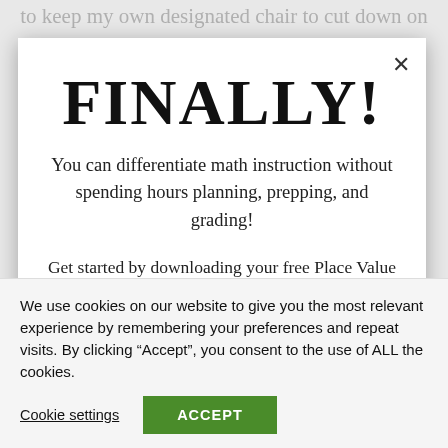to keep my own designated chair to cut down on
FINALLY!
You can differentiate math instruction without spending hours planning, prepping, and grading!
Get started by downloading your free Place Value Differentiation Bundle.
We use cookies on our website to give you the most relevant experience by remembering your preferences and repeat visits. By clicking “Accept”, you consent to the use of ALL the cookies.
Cookie settings
ACCEPT